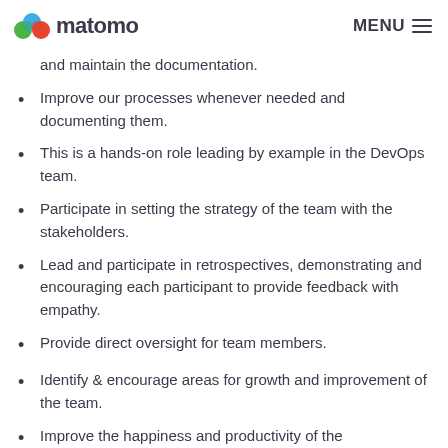matomo   MENU
and maintain the documentation.
Improve our processes whenever needed and documenting them.
This is a hands-on role leading by example in the DevOps team.
Participate in setting the strategy of the team with the stakeholders.
Lead and participate in retrospectives, demonstrating and encouraging each participant to provide feedback with empathy.
Provide direct oversight for team members.
Identify & encourage areas for growth and improvement of the team.
Improve the happiness and productivity of the